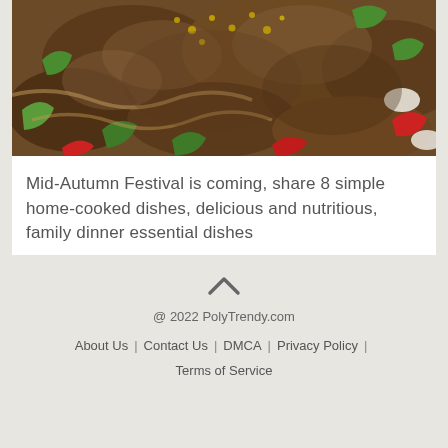[Figure (photo): Close-up photo of cooked meat dish with green and red bell peppers and yellow toppings in a bowl]
Mid-Autumn Festival is coming, share 8 simple home-cooked dishes, delicious and nutritious, family dinner essential dishes
@ 2022 PolyTrendy.com
About Us | Contact Us | DMCA | Privacy Policy |
Terms of Service